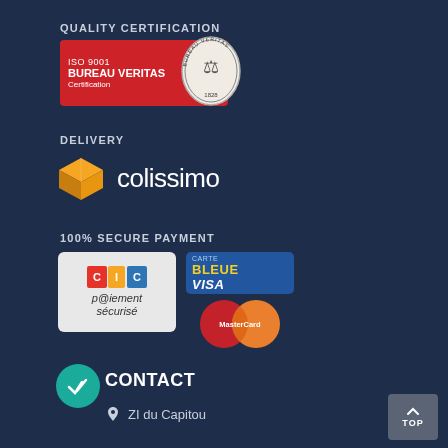QUALITY CERTIFICATION
[Figure (logo): Bureau Veritas ISO 9001 Certification badge — red background with oval seal showing figure and date 1828]
DELIVERY
[Figure (logo): Colissimo logo — orange 3D box icon next to 'colissimo' text in white]
100% SECURE PAYMENT
[Figure (logo): CIC p@iement sécurisé card logo]
[Figure (logo): Carte Bleue VISA logo and MasterCard logo]
CONTACT
ZI du Capitou